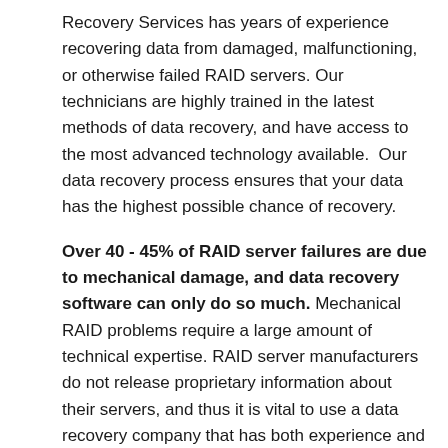Recovery Services has years of experience recovering data from damaged, malfunctioning, or otherwise failed RAID servers. Our technicians are highly trained in the latest methods of data recovery, and have access to the most advanced technology available.  Our data recovery process ensures that your data has the highest possible chance of recovery.
Over 40 - 45% of RAID server failures are due to mechanical damage, and data recovery software can only do so much. Mechanical RAID problems require a large amount of technical expertise. RAID server manufacturers do not release proprietary information about their servers, and thus it is vital to use a data recovery company that has both experience and focus. Inter-Data Recovery Services specializes in the area of RAID server recovery. Unlike many other companies, we do not outsource or ship your drives to any other location. All work is done on-site at our offices in Irvine, CA.